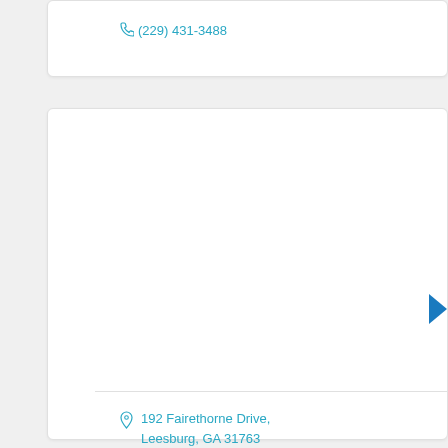(229) 431-3488
192 Fairethorne Drive, Leesburg, GA 31763
(229) 439-9042